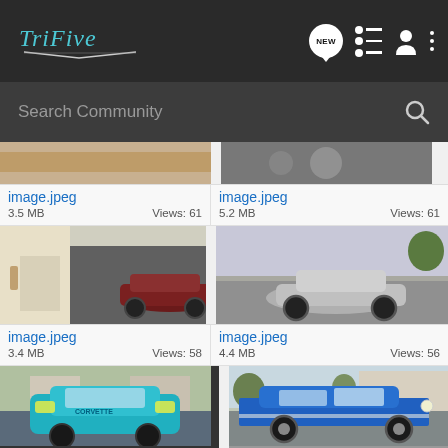TriFive - Search Community
[Figure (screenshot): Mobile app screenshot showing TriFive community image gallery with search bar and grid of car images]
image.jpeg
3.5 MB   Views: 61
image.jpeg
5.2 MB   Views: 61
image.jpeg
3.4 MB   Views: 58
image.jpeg
4.4 MB   Views: 56